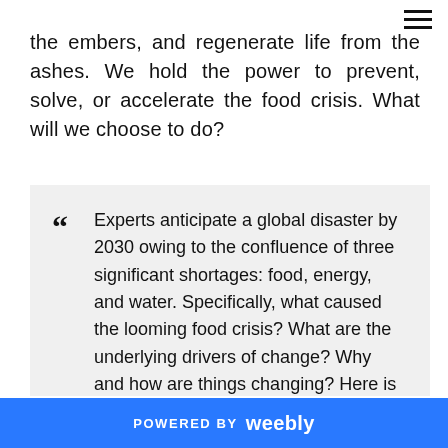≡
the embers, and regenerate life from the ashes. We hold the power to prevent, solve, or accelerate the food crisis. What will we choose to do?
" Experts anticipate a global disaster by 2030 owing to the confluence of three significant shortages: food, energy, and water. Specifically, what caused the looming food crisis? What are the underlying drivers of change? Why and how are things changing? Here is a basic example of cause and effect in the food chain: the death and
POWERED BY weebly